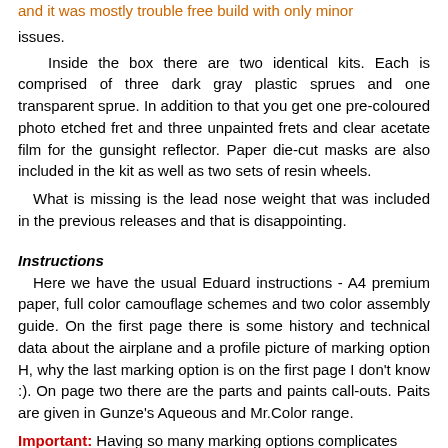and it was mostly trouble free build with only minor issues.
Inside the box there are two identical kits. Each is comprised of three dark gray plastic sprues and one transparent sprue. In addition to that you get one pre-coloured photo etched fret and three unpainted frets and clear acetate film for the gunsight reflector. Paper die-cut masks are also included in the kit as well as two sets of resin wheels.
What is missing is the lead nose weight that was included in the previous releases and that is disappointing.
Instructions
Here we have the usual Eduard instructions - A4 premium paper, full color camouflage schemes and two color assembly guide. On the first page there is some history and technical data about the airplane and a profile picture of marking option H, why the last marking option is on the first page I don't know :). On page two there are the parts and paints call-outs. Paits are given in Gunze's Aqueous and Mr.Color range.
Important: Having so many marking options complicates the assembly guide. My advice is to make a note on the